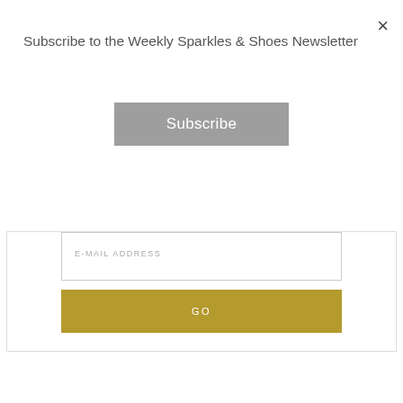×
Subscribe to the Weekly Sparkles & Shoes Newsletter
Subscribe
E-MAIL ADDRESS
GO
WHERE I SHOP
Amazon (US)
Amazon (UK)
Beauty Pie